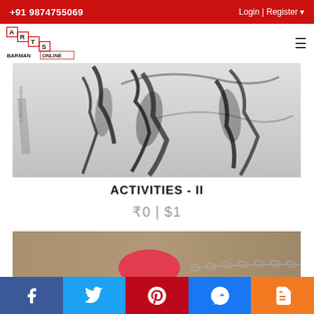+91 9874755069 | Login | Register
[Figure (logo): Arts Barman Online logo with red staircase letters and BARMAN ONLINE text]
[Figure (photo): Black and white artwork showing abstract human figures in motion]
ACTIVITIES - II
₹0 | $1
[Figure (photo): Painting on tan/brown background with a pink/red oval shape, golden disc, and silver chain lines]
Social share bar: Facebook, Twitter, Pinterest, Messenger, Blogger